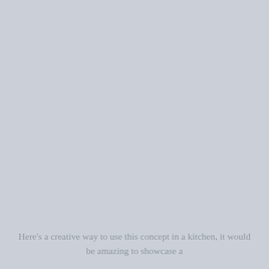[Figure (photo): Large plain gray-blue rectangle filling most of the page, serving as a background or placeholder image area.]
Here's a creative way to use this concept in a kitchen, it would be amazing to showcase a